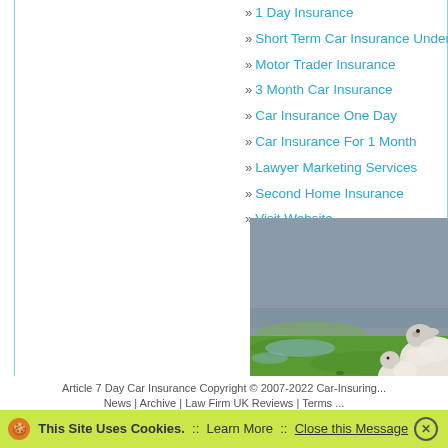» 1 Day Insurance
» Short Term Car Insurance Under 25
» Motor Trader Insurance
» 3 Month Car Insurance
» Car Insurance One Day
» Car Insurance For 1 Month
» Lawyer Marketing Services
» Second Home Insurance
» Visit Website
[Figure (photo): Two sheep (an adult and a lamb) standing on green grass near a flooded or wet area with grey water visible in the background.]
Article 7 Day Car Insurance Copyright © 2007-2022 Car-Insuring...
News | Archive | Law Firm UK Reviews | Terms ...
This Site Uses Cookies.  ::  Learn More  ::  Close this Message ✕